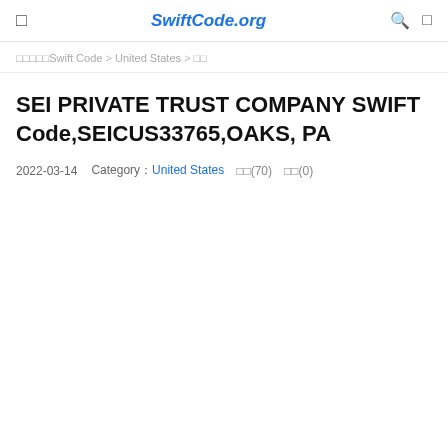☰  SwiftCode.org  🔍  ☰
□□□□□Swift Code > United States > □□
SEI PRIVATE TRUST COMPANY SWIFT Code,SEICUS33765,OAKS, PA
2022-03-14   Category：United States   □□(70)   □□(0)